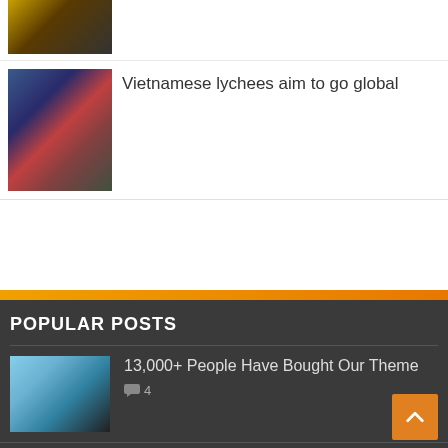[Figure (photo): Top article thumbnail – orange/dark toned image]
[Figure (photo): Vietnamese lychees market scene – people at a market stall with fruit]
Vietnamese lychees aim to go global
POPULAR POSTS
[Figure (photo): Person with hat sitting at outdoor event]
13,000+ People Have Bought Our Theme
4
[Figure (photo): Colorful crowd scene with flags]
Which Company Would You Choose?
2